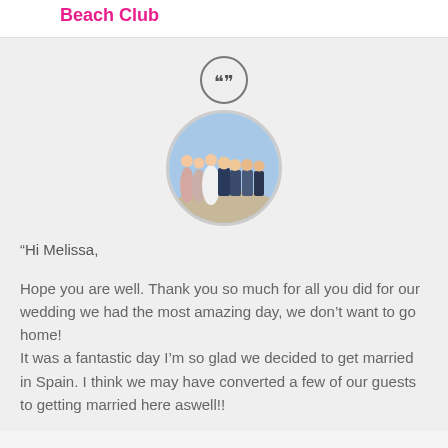Beach Club
[Figure (illustration): Quotation mark icon inside a circle]
[Figure (photo): Circular portrait photo of a wedding party group: bridesmaids in light dresses, bride in white, groom and groomsmen in dark suits, standing together outdoors with blue sky behind.]
“Hi Melissa,

Hope you are well. Thank you so much for all you did for our wedding we had the most amazing day, we don’t want to go home!
It was a fantastic day I’m so glad we decided to get married in Spain. I think we may have converted a few of our guests to getting married here aswell!!